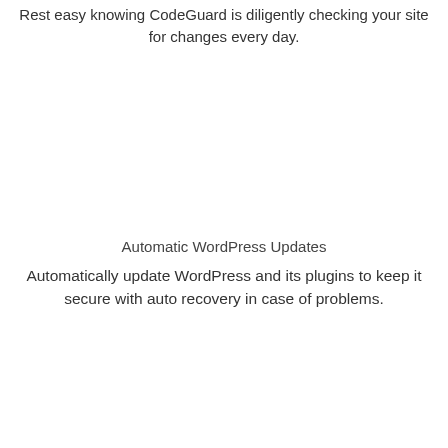Rest easy knowing CodeGuard is diligently checking your site for changes every day.
Automatic WordPress Updates
Automatically update WordPress and its plugins to keep it secure with auto recovery in case of problems.